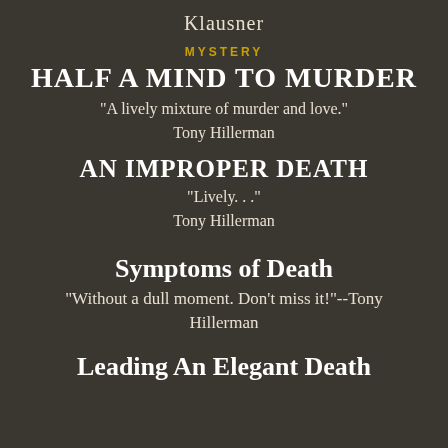Klausner
MYSTERY
HALF A MIND TO MURDER
"A lively mixture of murder and love." Tony Hillerman
AN IMPROPER DEATH
"Lively. . ." Tony Hillerman
Symptoms of Death
"Without a dull moment. Don't miss it!"--Tony Hillerman
Leading An Elegant Death